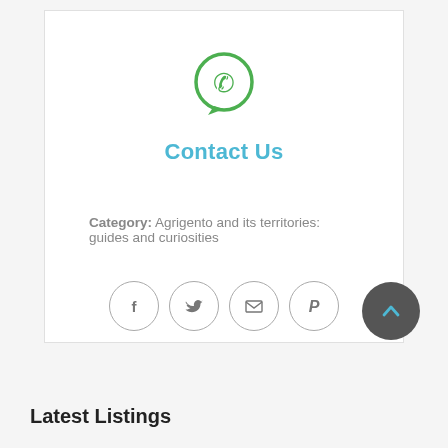[Figure (logo): WhatsApp icon — green circle with white phone handset in speech bubble]
Contact Us
Category: Agrigento and its territories: guides and curiosities
[Figure (infographic): Four social share icons in circles: Facebook (f), Twitter (bird), Email (envelope), Pinterest (P)]
[Figure (infographic): Back to top button: dark grey circle with upward chevron arrow in teal/cyan]
Latest Listings